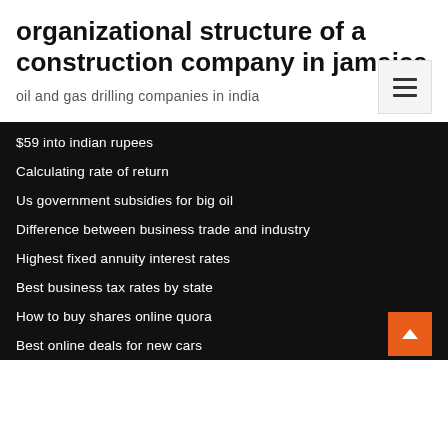organizational structure of a construction company in jamaica
oil and gas drilling companies in india
$59 into indian rupees
Calculating rate of return
Us government subsidies for big oil
Difference between business trade and industry
Highest fixed annuity interest rates
Best business tax rates by state
How to buy shares online quora
Best online deals for new cars